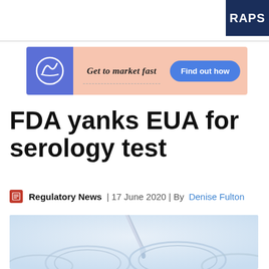RAPS
[Figure (other): Advertisement banner: 'Get to market fast — Find out how' with blue button and logo on blue background, pink/salmon background]
FDA yanks EUA for serology test
Regulatory News | 17 June 2020 | By Denise Fulton
[Figure (photo): Close-up photo of laboratory glassware and pipette dropper over petri dishes/beakers, light blue toned background]